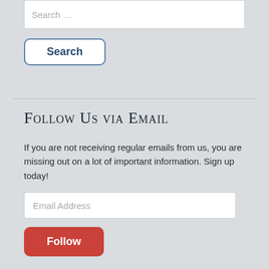Search …
Search
Follow Us via Email
If you are not receiving regular emails from us, you are missing out on a lot of important information. Sign up today!
Email Address
Follow
Join 292 other followers